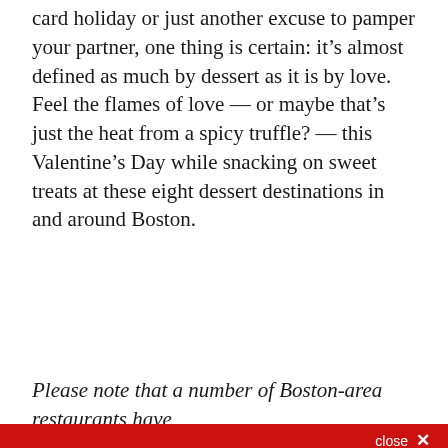card holiday or just another excuse to pamper your partner, one thing is certain: it’s almost defined as much by dessert as it is by love. Feel the flames of love — or maybe that’s just the heat from a spicy truffle? — this Valentine’s Day while snacking on sweet treats at these eight dessert destinations in and around Boston.
Please note that a number of Boston-area restaurants have
[Figure (screenshot): Newsletter signup modal overlay with red background. Title: 'Sign up for the Eater Boston newsletter'. Subtitle: 'Sign up for our newsletter.' Email input field and SUBSCRIBE button. Close button in top right. Terms text at bottom.]